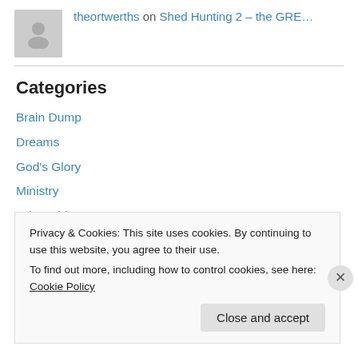theortwerths on Shed Hunting 2 – the GRE…
Categories
Brain Dump
Dreams
God's Glory
Ministry
Other Things
Products
Rehma
Privacy & Cookies: This site uses cookies. By continuing to use this website, you agree to their use. To find out more, including how to control cookies, see here: Cookie Policy
Close and accept